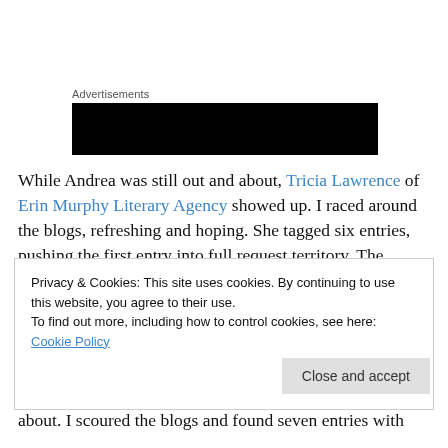Advertisements
[Figure (other): Black advertisement banner block]
While Andrea was still out and about, Tricia Lawrence of Erin Murphy Literary Agency showed up. I raced around the blogs, refreshing and hoping. She tagged six entries, pushing the first entry into full request territory. The crowd cheered! No Sarah, but I wasn't too worried, that was only three agents, still five to go. Then Susan Hawk of The
Privacy & Cookies: This site uses cookies. By continuing to use this website, you agree to their use.
To find out more, including how to control cookies, see here: Cookie Policy
about. I scoured the blogs and found seven entries with